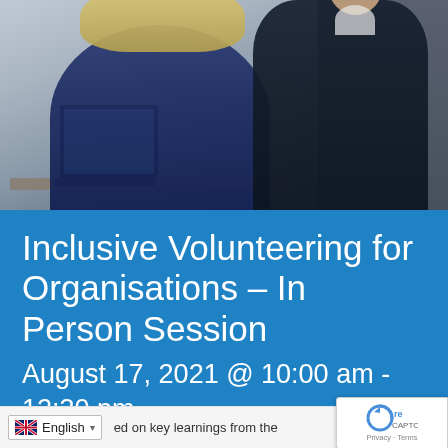[Figure (photo): Two people in a professional office setting; one person with blonde hair seated at a desk with a laptop, another person in a dark suit standing nearby.]
Inclusive Volunteering for Organisations – In Person Session
August 17, 2021 @ 10:00 am - 12:30 pm
|  FREE
[Figure (other): reCAPTCHA badge widget showing the Google reCAPTCHA logo and 'Privacy - Terms' text.]
ed on key learnings from the